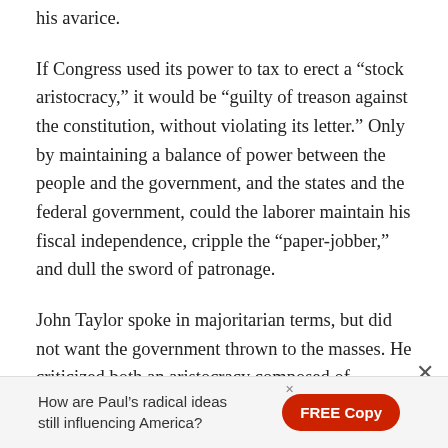his avarice.
If Congress used its power to tax to erect a “stock aristocracy,” it would be “guilty of treason against the constitution, without violating its letter.” Only by maintaining a balance of power between the people and the government, and the states and the federal government, could the laborer maintain his fiscal independence, cripple the “paper-jobber,” and dull the sword of patronage.
John Taylor spoke in majoritarian terms, but did not want the government thrown to the masses. He criticized both an aristocracy composed of minority interests, such as a military or stock interest, and mob rule. The business of
How are Paul’s radical ideas still influencing America?
FREE Copy